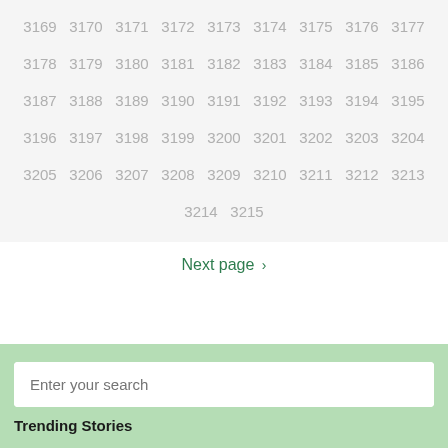3169 3170 3171 3172 3173 3174 3175 3176 3177 3178 3179 3180 3181 3182 3183 3184 3185 3186 3187 3188 3189 3190 3191 3192 3193 3194 3195 3196 3197 3198 3199 3200 3201 3202 3203 3204 3205 3206 3207 3208 3209 3210 3211 3212 3213 3214 3215
Next page ›
Enter your search
Trending Stories